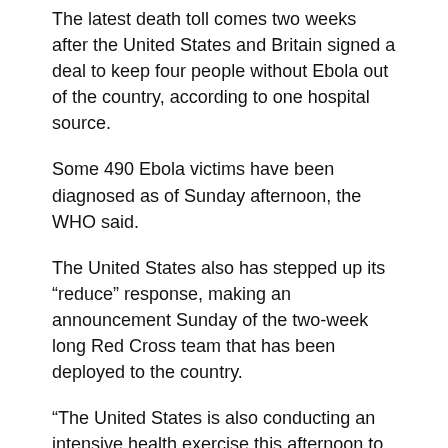The latest death toll comes two weeks after the United States and Britain signed a deal to keep four people without Ebola out of the country, according to one hospital source.
Some 490 Ebola victims have been diagnosed as of Sunday afternoon, the WHO said.
The United States also has stepped up its “reduce” response, making an announcement Sunday of the two-week long Red Cross team that has been deployed to the country.
“The United States is also conducting an intensive health exercise this afternoon to provide continued support to the affected people and the people of the nation and their families,” the United States said in a statement Sunday. https://tonaton.co.ke/a_air-humidifier-q4iUheZo6i0QtBxJX9poRAXv.html
One European hospital has also closed its doors, with two remaining in the wake of the Ebola outbreak. Those places are